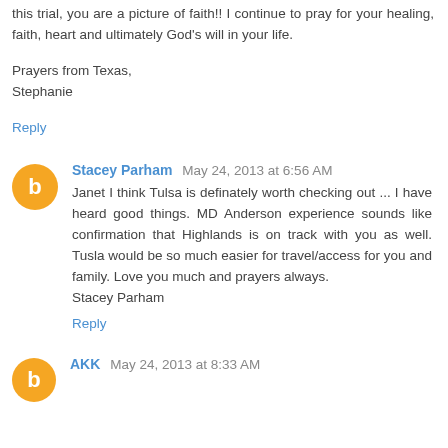this trial, you are a picture of faith!! I continue to pray for your healing, faith, heart and ultimately God's will in your life.
Prayers from Texas,
Stephanie
Reply
Stacey Parham  May 24, 2013 at 6:56 AM
Janet I think Tulsa is definately worth checking out ... I have heard good things. MD Anderson experience sounds like confirmation that Highlands is on track with you as well. Tusla would be so much easier for travel/access for you and family. Love you much and prayers always.
Stacey Parham
Reply
AKK  May 24, 2013 at 8:33 AM